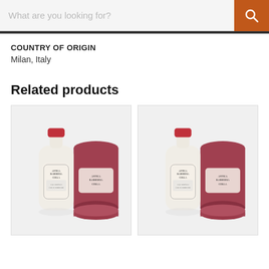[Figure (screenshot): E-commerce search bar with placeholder text 'What are you looking for?' and an orange search button with magnifying glass icon]
COUNTRY OF ORIGIN
Milan, Italy
Related products
[Figure (photo): Antica Barbieria Colla product: white bottle with red cap and ornate label, next to a dark red cylindrical box with matching label and lid]
[Figure (photo): Antica Barbieria Colla product (duplicate): same white bottle with red cap and ornate label, next to a dark red cylindrical box with matching label and lid]